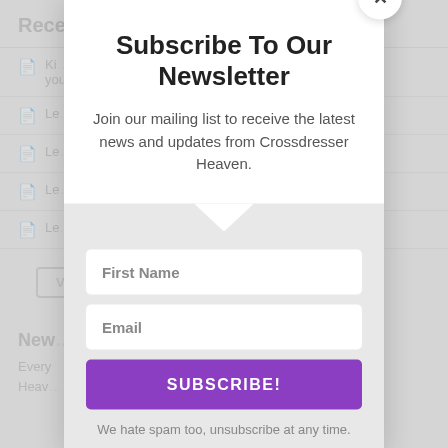Recent Comments
Ki… for you!
Le…
Le…
Le…
Le…
Subscribe To Our Newsletter
Join our mailing list to receive the latest news and updates from Crossdresser Heaven.
First Name
Email
SUBSCRIBE!
We hate spam too, unsubscribe at any time.
New…
Every… ser Heav…